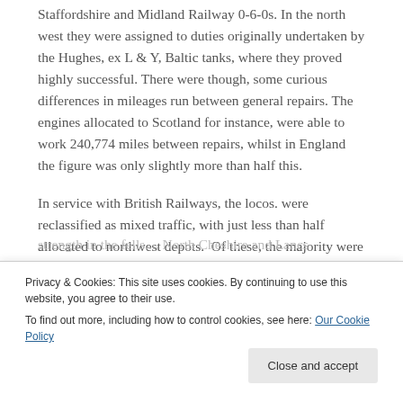Staffordshire and Midland Railway 0-6-0s. In the north west they were assigned to duties originally undertaken by the Hughes, ex L & Y, Baltic tanks, where they proved highly successful. There were though, some curious differences in mileages run between general repairs. The engines allocated to Scotland for instance, were able to work 240,774 miles between repairs, whilst in England the figure was only slightly more than half this.
In service with British Railways, the locos. were reclassified as mixed traffic, with just less than half allocated to northwest depots. Of these, the majority were stabled in South Lancashire, North Cheshire and Derbyshire. The engines sent to Oxenholme and Tebay were mainly for
strength in the fells... North Cheshire and Lancs
Privacy & Cookies: This site uses cookies. By continuing to use this website, you agree to their use.
To find out more, including how to control cookies, see here: Our Cookie Policy